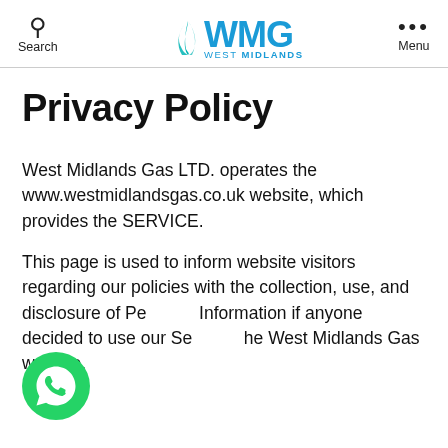Search  [WMG West Midlands Gas logo]  Menu
Privacy Policy
West Midlands Gas LTD. operates the www.westmidlandsgas.co.uk website, which provides the SERVICE.
This page is used to inform website visitors regarding our policies with the collection, use, and disclosure of Personal Information if anyone decided to use our Service, the West Midlands Gas website.
[Figure (logo): WhatsApp green circle icon overlay in bottom-left corner]